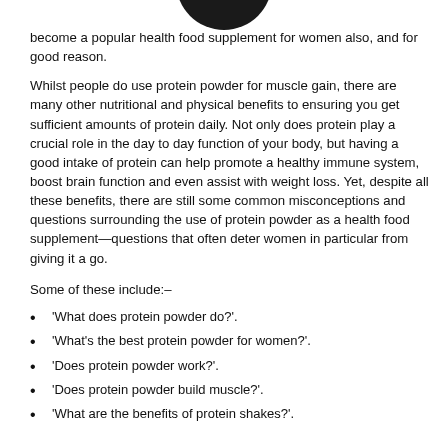[Figure (illustration): Partial dark circular shape visible at top center of page, cropped at top edge]
become a popular health food supplement for women also, and for good reason.
Whilst people do use protein powder for muscle gain, there are many other nutritional and physical benefits to ensuring you get sufficient amounts of protein daily. Not only does protein play a crucial role in the day to day function of your body, but having a good intake of protein can help promote a healthy immune system, boost brain function and even assist with weight loss. Yet, despite all these benefits, there are still some common misconceptions and questions surrounding the use of protein powder as a health food supplement—questions that often deter women in particular from giving it a go.
Some of these include:–
'What does protein powder do?'.
'What's the best protein powder for women?'.
'Does protein powder work?'.
'Does protein powder build muscle?'.
'What are the benefits of protein shakes?'.